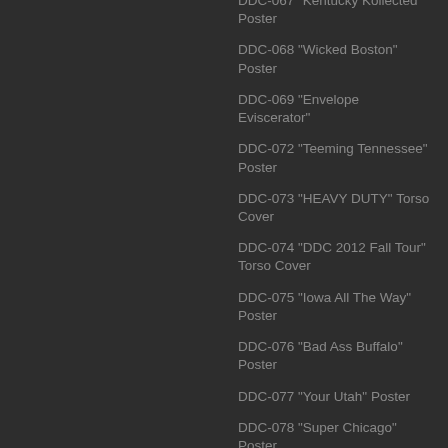DDC-067 "Kentucky Kollected" Poster
DDC-068 "Wicked Boston" Poster
DDC-069 "Envelope Eviscerator"
DDC-072 "Teeming Tennessee" Poster
DDC-073 "HEAVY DUTY" Torso Cover
DDC-074 "DDC 2012 Fall Tour" Torso Cover
DDC-075 "Iowa All The Way" Poster
DDC-076 "Bad Ass Buffalo" Poster
DDC-077 "Your Utah" Poster
DDC-078 "Super Chicago" Poster
DDC-079 "Solidly South Dakota" Poster
DDC-080 "Oregon, Oh Yeah"